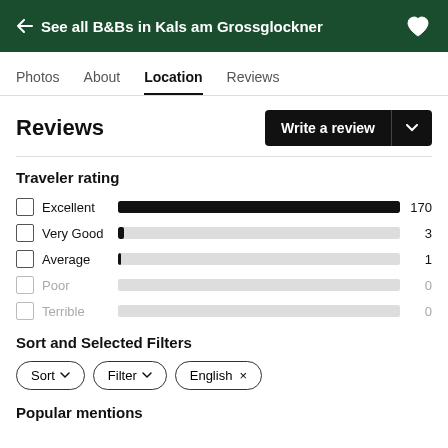← See all B&Bs in Kals am Grossglockner
Photos  About  Location  Reviews
Reviews
Traveler rating
[Figure (bar-chart): Traveler Rating]
Sort and Selected Filters
Sort  Filter  English ×
Popular mentions